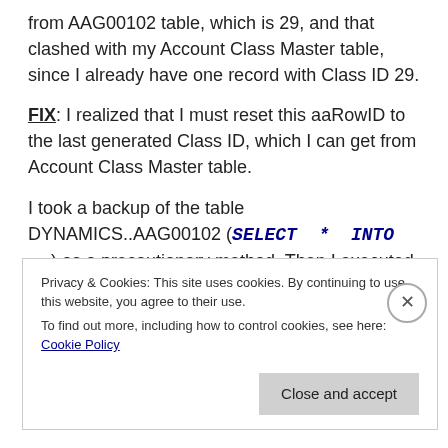from AAG00102 table, which is 29, and that clashed with my Account Class Master table, since I already have one record with Class ID 29.
FIX: I realized that I must reset this aaRowID to the last generated Class ID, which I can get from Account Class Master table.
I took a backup of the table DYNAMICS..AAG00102 (SELECT * INTO …) as a precautionary method. Then I executed the below query to reset it:
Privacy & Cookies: This site uses cookies. By continuing to use this website, you agree to their use. To find out more, including how to control cookies, see here: Cookie Policy